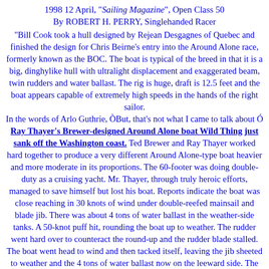1998 12 April, "Sailing Magazine", Open Class 50
By ROBERT H. PERRY, Singlehanded Racer
"Bill Cook took a hull designed by Rejean Desgagnes of Quebec and finished the design for Chris Beirne's entry into the Around Alone race, formerly known as the BOC. The boat is typical of the breed in that it is a big, dinghylike hull with ultralight displacement and exaggerated beam, twin rudders and water ballast. The rig is huge, draft is 12.5 feet and the boat appears capable of extremely high speeds in the hands of the right sailor.
In the words of Arlo Guthrie, ÒBut, that's not what I came to talk about Ó Ray Thayer's Brewer-designed Around Alone boat Wild Thing just sank off the Washington coast. Ted Brewer and Ray Thayer worked hard together to produce a very different Around Alone-type boat heavier and more moderate in its proportions. The 60-footer was doing double-duty as a cruising yacht. Mr. Thayer, through truly heroic efforts, managed to save himself but lost his boat. Reports indicate the boat was close reaching in 30 knots of wind under double-reefed mainsail and blade jib. There was about 4 tons of water ballast in the weather-side tanks. A 50-knot puff hit, rounding the boat up to weather. The rudder went hard over to counteract the round-up and the rudder blade stalled. The boat went head to wind and then tacked itself, leaving the jib sheeted to weather and the 4 tons of water ballast now on the leeward side. The boat heeled to about 105 degrees. Basically, water poured in through the open Dorades (added by the